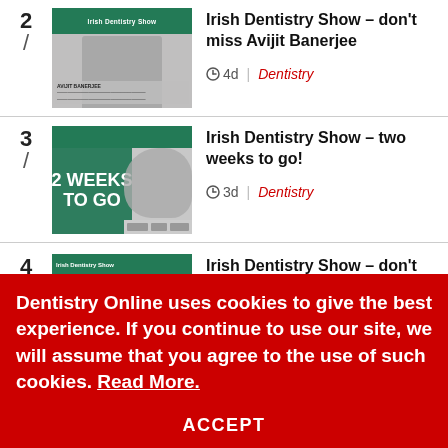2 / Irish Dentistry Show – don't miss Avijit Banerjee | 4d | Dentistry
3 / Irish Dentistry Show – two weeks to go! | 3d | Dentistry
4 / Irish Dentistry Show – don't miss award-winning Rachel
Dentistry Online uses cookies to give the best experience. If you continue to use our site, we will assume that you agree to the use of such cookies. Read More.
ACCEPT